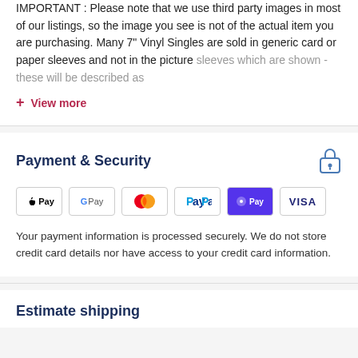IMPORTANT: Please note that we use third party images in most of our listings, so the image you see is not of the actual item you are purchasing. Many 7" Vinyl Singles are sold in generic card or paper sleeves and not in the picture sleeves which are shown - these will be described as
+ View more
Payment & Security
[Figure (logo): Payment method logos: Apple Pay, Google Pay, Mastercard, PayPal, Shop Pay, Visa]
Your payment information is processed securely. We do not store credit card details nor have access to your credit card information.
Estimate shipping